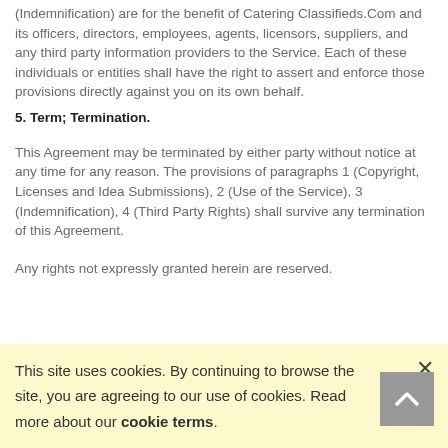(Indemnification) are for the benefit of Catering Classifieds.Com and its officers, directors, employees, agents, licensors, suppliers, and any third party information providers to the Service. Each of these individuals or entities shall have the right to assert and enforce those provisions directly against you on its own behalf.
5. Term; Termination.
This Agreement may be terminated by either party without notice at any time for any reason. The provisions of paragraphs 1 (Copyright, Licenses and Idea Submissions), 2 (Use of the Service), 3 (Indemnification), 4 (Third Party Rights) shall survive any termination of this Agreement.
Any rights not expressly granted herein are reserved.
This site uses cookies. By continuing to browse the site, you are agreeing to our use of cookies. Read more about our cookie terms.